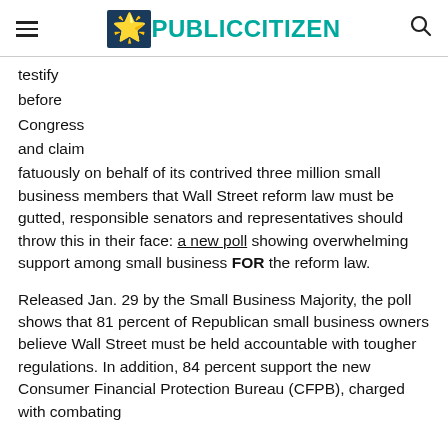PUBLIC CITIZEN
testify
before
Congress
and claim
fatuously on behalf of its contrived three million small business members that Wall Street reform law must be gutted, responsible senators and representatives should throw this in their face: a new poll showing overwhelming support among small business FOR the reform law.
Released Jan. 29 by the Small Business Majority, the poll shows that 81 percent of Republican small business owners believe Wall Street must be held accountable with tougher regulations. In addition, 84 percent support the new Consumer Financial Protection Bureau (CFPB), charged with combating